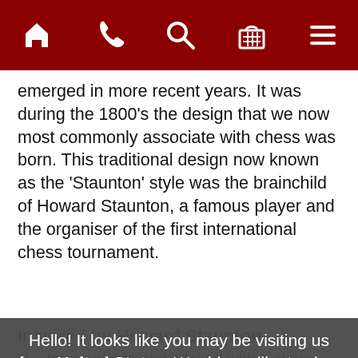[Navigation bar with home, phone, search, basket, menu icons]
emerged in more recent years. It was during the 1800's the design that we now most commonly associate with chess was born. This traditional design now known as the 'Staunton' style was the brainchild of Howard Staunton, a famous player and the organiser of the first international chess tournament.
Inspired by Howard Staunton
Hello! It looks like you may be visiting us from United States. Would you like to view our prices in $?
No thanks
Yes please!
H... tournaments and worked with a chess maker to develop and produce the first Staunton chess set, which went on to become th...
Tr...
A traditional chess set makes the perfect gift for family or...